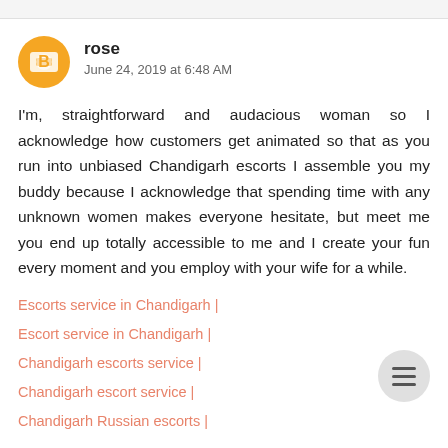rose
June 24, 2019 at 6:48 AM
I'm, straightforward and audacious woman so I acknowledge how customers get animated so that as you run into unbiased Chandigarh escorts I assemble you my buddy because I acknowledge that spending time with any unknown women makes everyone hesitate, but meet me you end up totally accessible to me and I create your fun every moment and you employ with your wife for a while.
Escorts service in Chandigarh |
Escort service in Chandigarh |
Chandigarh escorts service |
Chandigarh escort service |
Chandigarh Russian escorts |